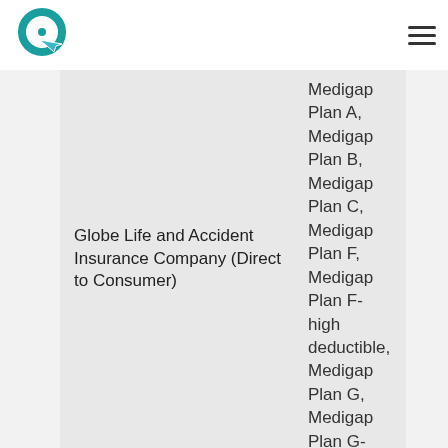Globe Life and Accident Insurance Company (Direct to Consumer)
Medigap Plan A, Medigap Plan B, Medigap Plan C, Medigap Plan F, Medigap Plan F-high deductible, Medigap Plan G, Medigap Plan G-high deductible, Medigap